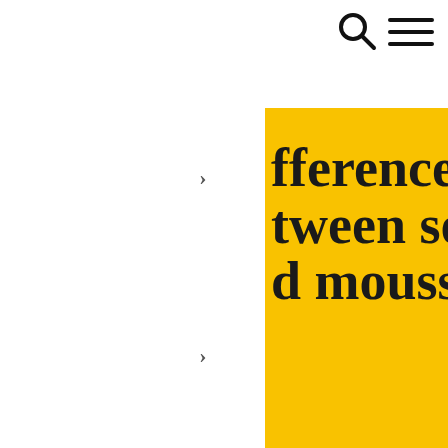[Figure (screenshot): Navigation icons: search (magnifying glass) and hamburger menu on white background top right]
fference between soufflé and mousse
difference between soufflé and